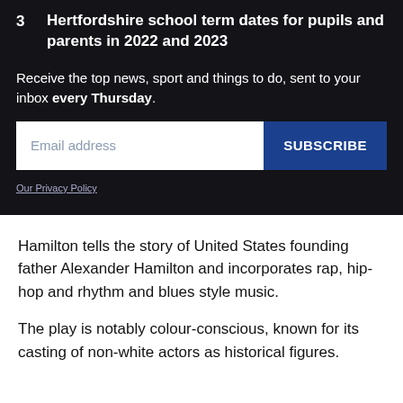3  Hertfordshire school term dates for pupils and parents in 2022 and 2023
Receive the top news, sport and things to do, sent to your inbox every Thursday.
[Figure (other): Email subscription form with an email address input field and a SUBSCRIBE button, followed by an Our Privacy Policy link]
Hamilton tells the story of United States founding father Alexander Hamilton and incorporates rap, hip-hop and rhythm and blues style music.
The play is notably colour-conscious, known for its casting of non-white actors as historical figures.